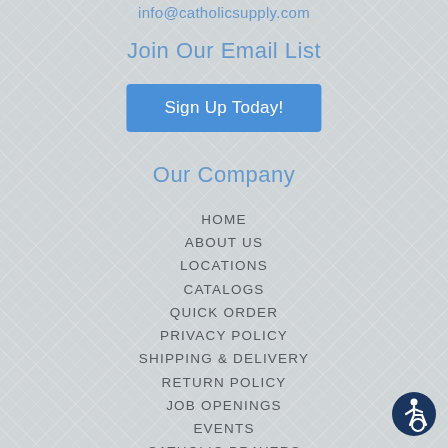info@catholicsupply.com
Join Our Email List
Sign Up Today!
Our Company
HOME
ABOUT US
LOCATIONS
CATALOGS
QUICK ORDER
PRIVACY POLICY
SHIPPING & DELIVERY
RETURN POLICY
JOB OPENINGS
EVENTS
CATHOLIC PRAYERS
MASS TIMES - FIND NEARBY CHURCH
BLOG
SITE MAP
[Figure (illustration): Accessibility icon — blue circle with white wheelchair user symbol]